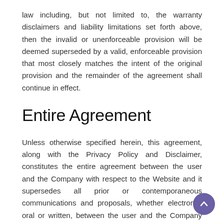law including, but not limited to, the warranty disclaimers and liability limitations set forth above, then the invalid or unenforceable provision will be deemed superseded by a valid, enforceable provision that most closely matches the intent of the original provision and the remainder of the agreement shall continue in effect.
Entire Agreement
Unless otherwise specified herein, this agreement, along with the Privacy Policy and Disclaimer, constitutes the entire agreement between the user and the Company with respect to the Website and it supersedes all prior or contemporaneous communications and proposals, whether electronic, oral or written, between the user and the Company with respect to the Website. A printed version of this agreement and of any notice given in electronic form shall be admissible in judicial or administrative proceedings based upon or relating to this agreement to the same extent and subject to the